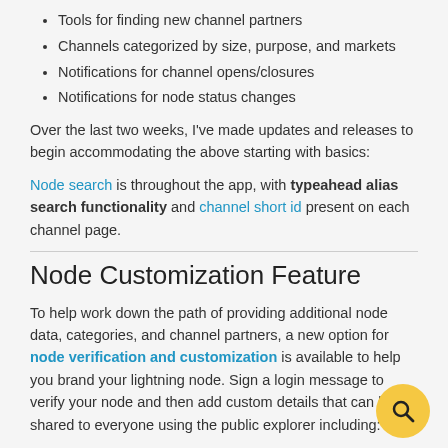Tools for finding new channel partners
Channels categorized by size, purpose, and markets
Notifications for channel opens/closures
Notifications for node status changes
Over the last two weeks, I've made updates and releases to begin accommodating the above starting with basics:
Node search is throughout the app, with typeahead alias search functionality and channel short id present on each channel page.
Node Customization Feature
To help work down the path of providing additional node data, categories, and channel partners, a new option for node verification and customization is available to help you brand your lightning node. Sign a login message to verify your node and then add custom details that can be shared to everyone using the public explorer including:
Custom Node Avatar Upload
Email, Twitter Handle, and Website details